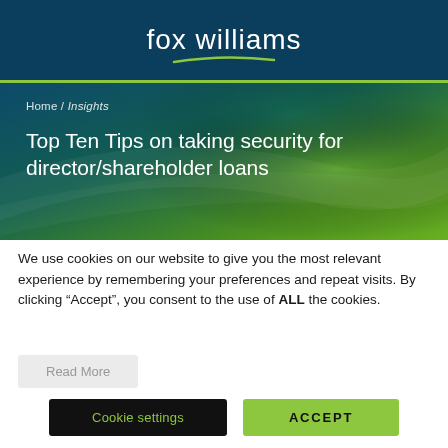fox williams
Home / Insights
Top Ten Tips on taking security for director/shareholder loans
We use cookies on our website to give you the most relevant experience by remembering your preferences and repeat visits. By clicking “Accept”, you consent to the use of ALL the cookies.
Read More
Cookie settings
ACCEPT